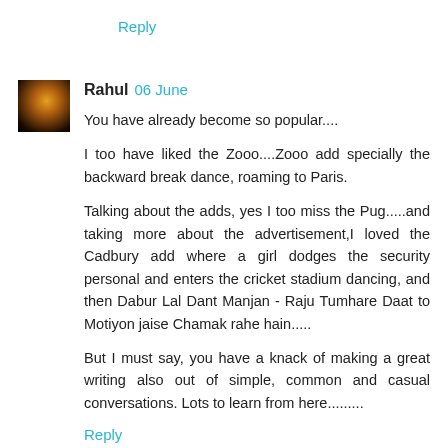Reply
Rahul 06 June
You have already become so popular....
I too have liked the Zooo....Zooo add specially the backward break dance, roaming to Paris.
Talking about the adds, yes I too miss the Pug.....and taking more about the advertisement,I loved the Cadbury add where a girl dodges the security personal and enters the cricket stadium dancing, and then Dabur Lal Dant Manjan - Raju Tumhare Daat to Motiyon jaise Chamak rahe hain.....
But I must say, you have a knack of making a great writing also out of simple, common and casual conversations. Lots to learn from here.........
Reply